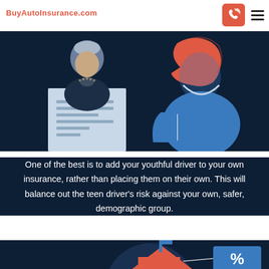BuyAutoInsurance.com
[Figure (illustration): Two illustrated figures on a dark navy background: left figure shows a person with grey hair looking at a document/form, right figure shows a person with orange/red hair from behind wearing a blue shirt]
One of the best is to add your youthful driver to your own insurance, rather than placing them on their own. This will balance out the teen driver's risk against your own, safer, demographic group.
[Figure (infographic): Partial infographic showing a percentage symbol on a blue tag and a house/building shape in orange, partially visible at bottom of page]